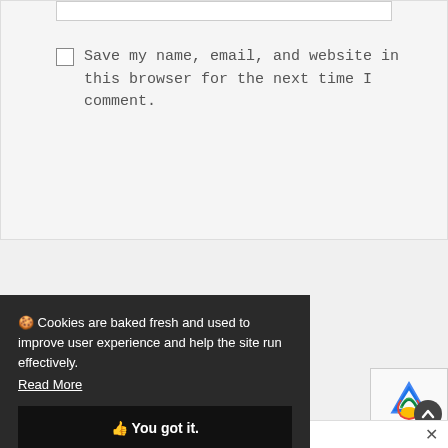Save my name, email, and website in this browser for the next time I comment.
Post Comment
[Figure (screenshot): Search bar with magnifying glass icon]
🍪 Cookies are baked fresh and used to improve user experience and help the site run effectively. Read More
👍 You got it.
[Figure (logo): reCAPTCHA widget with Privacy and Terms]
Select Category